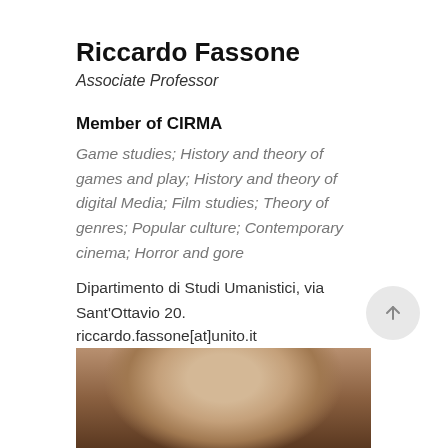Riccardo Fassone
Associate Professor
Member of CIRMA
Game studies; History and theory of games and play; History and theory of digital Media; Film studies; Theory of genres; Popular culture; Contemporary cinema; Horror and gore
Dipartimento di Studi Umanistici, via Sant'Ottavio 20.
riccardo.fassone[at]unito.it
web page
[Figure (photo): Portrait photo of Riccardo Fassone, partially visible, showing top of head with brown hair]